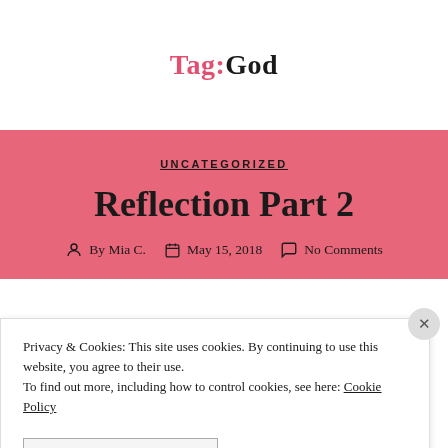Tag: God
UNCATEGORIZED
Reflection Part 2
By Mia C.   May 15, 2018   No Comments
Privacy & Cookies: This site uses cookies. By continuing to use this website, you agree to their use. To find out more, including how to control cookies, see here: Cookie Policy
CLOSE AND ACCEPT